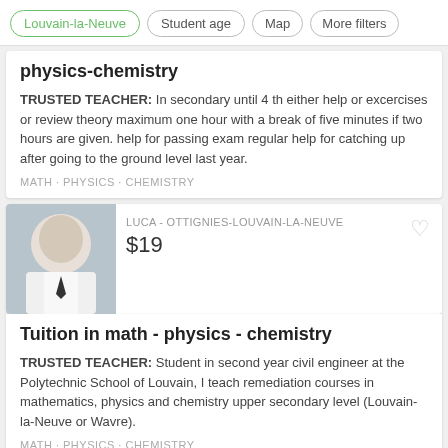Louvain-la-Neuve  Student age  Map  More filters
physics-chemistry
TRUSTED TEACHER: In secondary until 4 th either help or excercises or review theory maximum one hour with a break of five minutes if two hours are given. help for passing exam regular help for catching up after going to the ground level last year.
MATH · PHYSICS · CHEMISTRY
LUCA - OTTIGNIES-LOUVAIN-LA-NEUVE
$19
Tuition in math - physics - chemistry
TRUSTED TEACHER: Student in second year civil engineer at the Polytechnic School of Louvain, I teach remediation courses in mathematics, physics and chemistry upper secondary level (Louvain-la-Neuve or Wavre).
MATH · PHYSICS · CHEMISTRY
GEOFFREY · LOUVAIN-LA-NEUVE